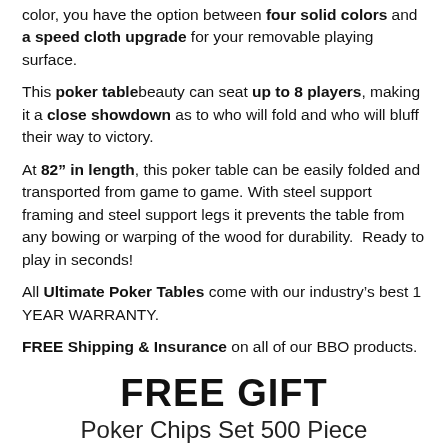color, you have the option between four solid colors and a speed cloth upgrade for your removable playing surface.
This poker table beauty can seat up to 8 players, making it a close showdown as to who will fold and who will bluff their way to victory.
At 82" in length, this poker table can be easily folded and transported from game to game. With steel support framing and steel support legs it prevents the table from any bowing or warping of the wood for durability.  Ready to play in seconds!
All Ultimate Poker Tables come with our industry's best 1 YEAR WARRANTY.
FREE Shipping & Insurance on all of our BBO products.
FREE GIFT
Poker Chips Set 500 Piece